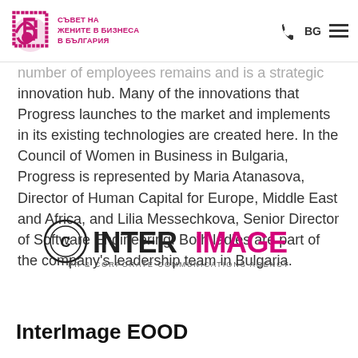СЪВЕТ НА ЖЕНИТЕ В БИЗНЕСА В БЪЛГАРИЯ
number of employees remains and is a strategic innovation hub. Many of the innovations that Progress launches to the market and implements in its existing technologies are created here. In the Council of Women in Business in Bulgaria, Progress is represented by Maria Atanasova, Director of Human Capital for Europe, Middle East and Africa, and Lilia Messechkova, Senior Director of Software Engineering. Both ladies are part of the company's leadership team in Bulgaria.
[Figure (logo): InterImage logo — circle copyright symbol followed by INTER in dark and IMAGE in magenta, with text PR & CORPORATE COMMUNICATIONS AGENCY below]
InterImage EOOD